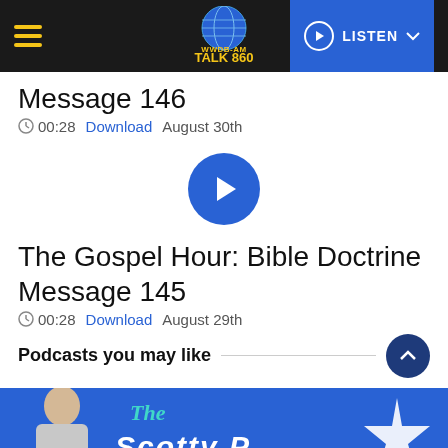WWDB-AM TALK 860 — LISTEN
The Gospel Hour: Bible Doctrine Message 146
00:28   Download   August 30th
[Figure (other): Large circular blue play button]
The Gospel Hour: Bible Doctrine Message 145
00:28   Download   August 29th
Podcasts you may like
[Figure (illustration): The Scotty P podcast banner with person and decorative star on blue background]